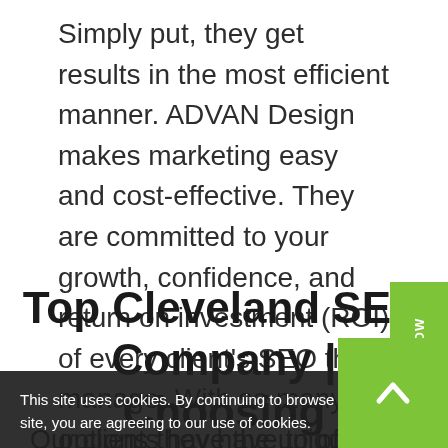Simply put, they get results in the most efficient manner. ADVAN Design makes marketing easy and cost-effective. They are committed to your growth, confidence, and return on investment (ROI) of every client's SEO they manage. With so many options they have to offer, the time is now to call to see what they can do for your business.
Top Cleveland SEO Company | Choosing ADVAN Design for SEO services
This site uses cookies. By continuing to browse the site, you are agreeing to our use of cookies.
Our clients have the unique advantage of